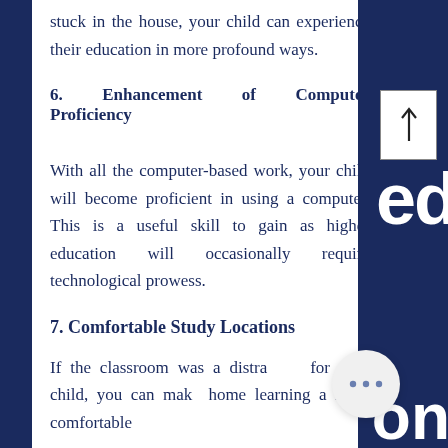stuck in the house, your child can experience their education in more profound ways.
6. Enhancement of Computer Proficiency
With all the computer-based work, your child will become proficient in using a computer. This is a useful skill to gain as higher education will occasionally require technological prowess.
7. Comfortable Study Locations
If the classroom was a distraction for your child, you can make home learning a more comfortable